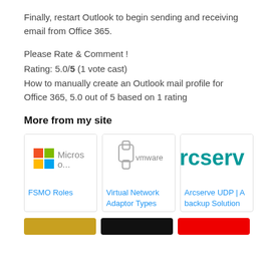Finally, restart Outlook to begin sending and receiving email from Office 365.
Please Rate & Comment !
Rating: 5.0/5 (1 vote cast)
How to manually create an Outlook mail profile for Office 365, 5.0 out of 5 based on 1 rating
More from my site
[Figure (screenshot): Microsoft logo thumbnail]
FSMO Roles
[Figure (screenshot): VMware logo thumbnail]
Virtual Network Adaptor Types
[Figure (screenshot): Arcserve logo thumbnail]
Arcserve UDP | A backup Solution
[Figure (screenshot): Three partially visible thumbnail cards at the bottom]